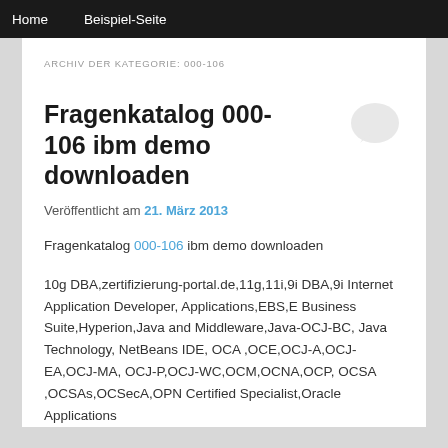Home    Beispiel-Seite
ARCHIV DER KATEGORIE: 000-106
Fragenkatalog 000-106 ibm demo downloaden
Veröffentlicht am 21. März 2013
Fragenkatalog 000-106 ibm demo downloaden
10g DBA,zertifizierung-portal.de,11g,11i,9i DBA,9i Internet Application Developer, Applications,EBS,E Business Suite,Hyperion,Java and Middleware,Java-OCJ-BC, Java Technology, NetBeans IDE, OCA ,OCE,OCJ-A,OCJ-EA,OCJ-MA, OCJ-P,OCJ-WC,OCM,OCNA,OCP, OCSA ,OCSAs,OCSecA,OPN Certified Specialist,Oracle Applications